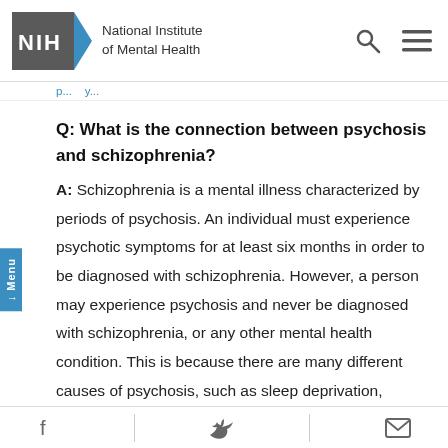NIH National Institute of Mental Health
p... y...
Q: What is the connection between psychosis and schizophrenia?
A: Schizophrenia is a mental illness characterized by periods of psychosis. An individual must experience psychotic symptoms for at least six months in order to be diagnosed with schizophrenia. However, a person may experience psychosis and never be diagnosed with schizophrenia, or any other mental health condition. This is because there are many different causes of psychosis, such as sleep deprivation, general medical conditions, the use of certain prescription medications,
f  t  email